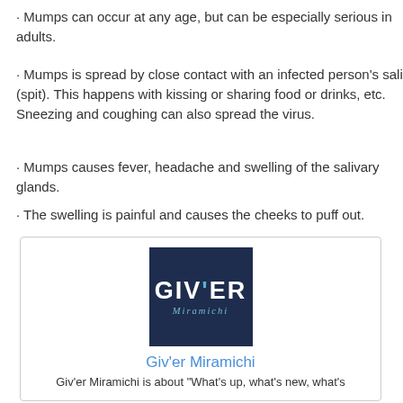· Mumps can occur at any age, but can be especially serious in adults.
· Mumps is spread by close contact with an infected person's saliva (spit). This happens with kissing or sharing food or drinks, etc. Sneezing and coughing can also spread the virus.
· Mumps causes fever, headache and swelling of the salivary glands.
· The swelling is painful and causes the cheeks to puff out.
[Figure (logo): GIV'ER Miramichi logo — dark navy blue square with white text 'GIV'ER' in large bold font and 'Miramichi' in smaller italic script below]
Giv'er Miramichi
Giv'er Miramichi is about "What's up, what's new, what's